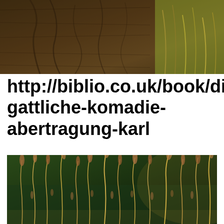[Figure (photo): Close-up photo of dark cracked earth or bark texture with dry grass on the right side, viewed from above.]
http://biblio.co.uk/book/die-gattliche-komadie-abertragung-karl
[Figure (photo): Close-up photo of wild grass and seed heads with a blurred green and dark background, warm golden light.]